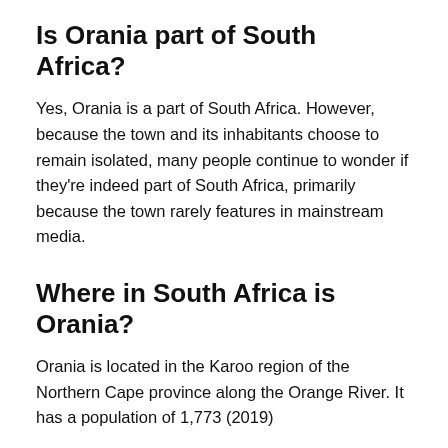Is Orania part of South Africa?
Yes, Orania is a part of South Africa. However, because the town and its inhabitants choose to remain isolated, many people continue to wonder if they’re indeed part of South Africa, primarily because the town rarely features in mainstream media.
Where in South Africa is Orania?
Orania is located in the Karoo region of the Northern Cape province along the Orange River. It has a population of 1,773 (2019)
Does Orania have its own currency?
Yes, the town of Orania has its own currency. The Ora was